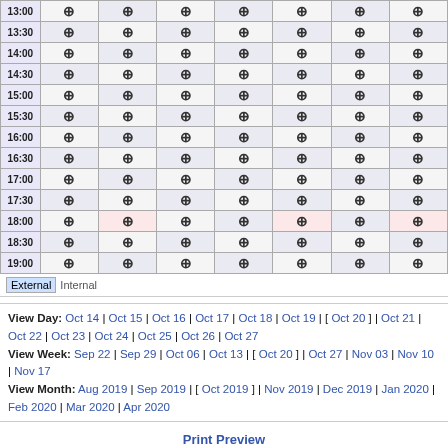| Time | Col1 | Col2 | Col3 | Col4 | Col5 | Col6 | Col7 |
| --- | --- | --- | --- | --- | --- | --- | --- |
| 13:00 | ⊕ | ⊕ | ⊕ | ⊕ | ⊕ | ⊕ | ⊕ |
| 13:30 | ⊕ | ⊕ | ⊕ | ⊕ | ⊕ | ⊕ | ⊕ |
| 14:00 | ⊕ | ⊕ | ⊕ | ⊕ | ⊕ | ⊕ | ⊕ |
| 14:30 | ⊕ | ⊕ | ⊕ | ⊕ | ⊕ | ⊕ | ⊕ |
| 15:00 | ⊕ | ⊕ | ⊕ | ⊕ | ⊕ | ⊕ | ⊕ |
| 15:30 | ⊕ | ⊕ | ⊕ | ⊕ | ⊕ | ⊕ | ⊕ |
| 16:00 | ⊕ | ⊕ | ⊕ | ⊕ | ⊕ | ⊕ | ⊕ |
| 16:30 | ⊕ | ⊕ | ⊕ | ⊕ | ⊕ | ⊕ | ⊕ |
| 17:00 | ⊕ | ⊕ | ⊕ | ⊕ | ⊕ | ⊕ | ⊕ |
| 17:30 | ⊕ | ⊕ | ⊕ | ⊕ | ⊕ | ⊕ | ⊕ |
| 18:00 | ⊕ | ⊕ | ⊕ | ⊕ | ⊕ | ⊕ | ⊕ |
| 18:30 | ⊕ | ⊕ | ⊕ | ⊕ | ⊕ | ⊕ | ⊕ |
| 19:00 | ⊕ | ⊕ | ⊕ | ⊕ | ⊕ | ⊕ | ⊕ |
External Internal
View Day: Oct 14 | Oct 15 | Oct 16 | Oct 17 | Oct 18 | Oct 19 | [ Oct 20 ] | Oct 21 | Oct 22 | Oct 23 | Oct 24 | Oct 25 | Oct 26 | Oct 27 View Week: Sep 22 | Sep 29 | Oct 06 | Oct 13 | [ Oct 20 ] | Oct 27 | Nov 03 | Nov 10 | Nov 17 View Month: Aug 2019 | Sep 2019 | [ Oct 2019 ] | Nov 2019 | Dec 2019 | Jan 2020 | Feb 2020 | Mar 2020 | Apr 2020
Print Preview